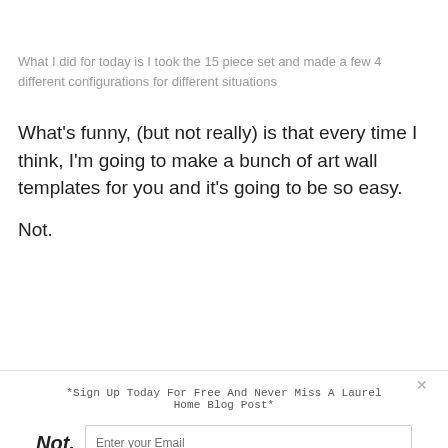What I did for today is I took the 15 piece set and made a few 4 different configurations for different situations
What’s funny, (but not really) is that every time I think, I’m going to make a bunch of art wall templates for you and it’s going to be so easy.
Not.
*Sign Up Today For Free And Never Miss A Laurel Home Blog Post*
Not,
Enter your Email
Gimme The Subscription!
Wi...